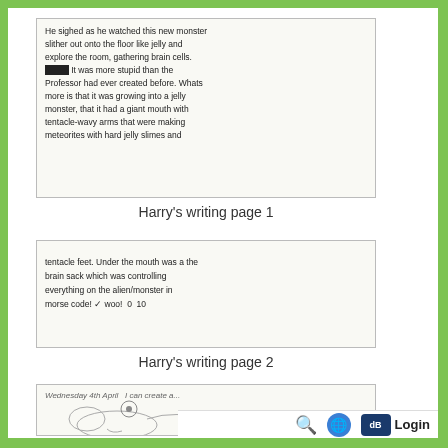[Figure (photo): Handwritten text on lined paper - Harry's writing page 1. Text reads: He sighed as he watched this new monster slither out onto the floor like jelly and explore the room, gathering brain cells. It was more stupid than the Professor had ever created before. Whats more is that it was growing into a jelly monster, that it had a giant mouth with tentacle-wavy arms that were making meteorites with hard jelly slimes and]
Harry's writing page 1
[Figure (photo): Handwritten text on lined paper - Harry's writing page 2. Text reads: tentacle feet. Under the mouth was a the brain sack which was controlling everything on the alien/monster in morse code! ✓ woo! 0 10]
Harry's writing page 2
[Figure (photo): Handwritten text and pencil drawing of a monster creature on lined paper. Text at top reads: Wednesday 4th April I can create a...]